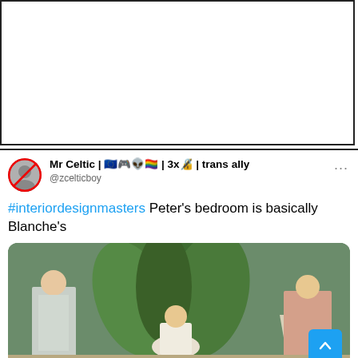[Figure (other): White empty panel area at top, bordered box]
[Figure (screenshot): Twitter/X tweet from user 'Mr Celtic | 🇪🇺🎮👽🏳️‍🌈| 3x🔏| trans ally' (@zcelticboy) with text '#interiordesignmasters Peter's bedroom is basically Blanche's' and an image of three women from The Golden Girls TV show in a bedroom with large tropical leaf wallpaper/decoration]
#interiordesignmasters Peter's bedroom is basically Blanche's